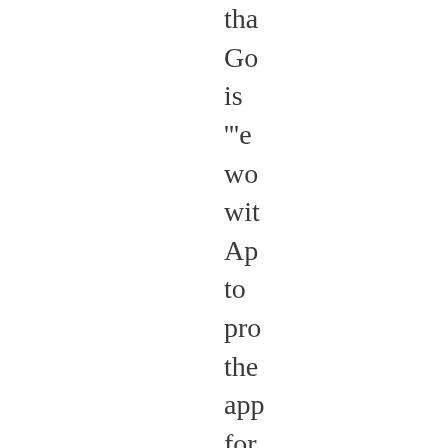tha
Go
is
'''e
wo
wit
Ap
to
pro
the
app
for
the
pop
iPh

A
rep
fro